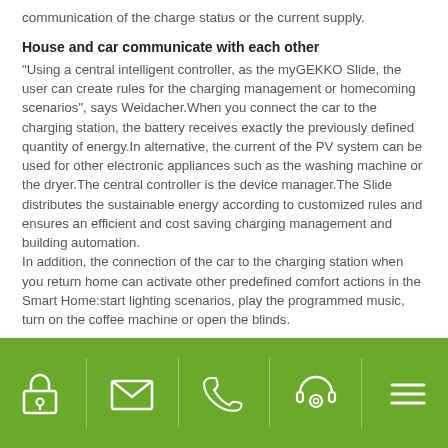communication of the charge status or the current supply.
House and car communicate with each other
“Using a central intelligent controller, as the myGEKKO Slide, the user can create rules for the charging management or homecoming scenarios”, says Weidacher.When you connect the car to the charging station, the battery receives exactly the previously defined quantity of energy.In alternative, the current of the PV system can be used for other electronic appliances such as the washing machine or the dryer.The central controller is the device manager.The Slide distributes the sustainable energy according to customized rules and ensures an efficient and cost saving charging management and building automation.
In addition, the connection of the car to the charging station when you return home can activate other predefined comfort actions in the Smart Home:start lighting scenarios, play the programmed music, turn on the coffee machine or open the blinds.
The Smart Home user can monitor the charging status of the e-car at any time on the display of the central controller or via app on tablet or smartphone and perform changes if necessary.Weather
[Figure (infographic): Green footer navigation bar with 5 white outline icons: padlock/account, envelope/mail, phone, headset/support, hamburger menu. Icons separated by faint vertical dividers.]